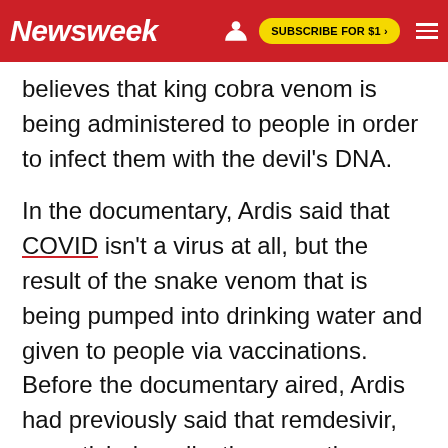Newsweek | SUBSCRIBE FOR $1 >
believes that king cobra venom is being administered to people in order to infect them with the devil's DNA.

In the documentary, Ardis said that COVID isn't a virus at all, but the result of the snake venom that is being pumped into drinking water and given to people via vaccinations. Before the documentary aired, Ardis had previously said that remdesivir, an antiviral medication sometimes used to treat COVID, was killing people.